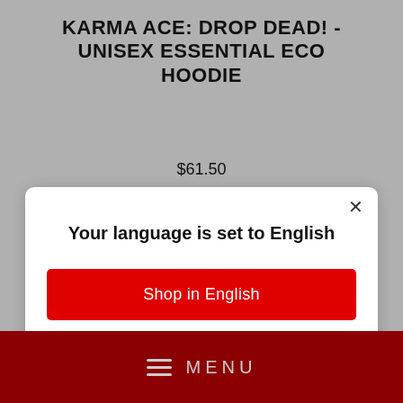KARMA ACE: DROP DEAD! - UNISEX ESSENTIAL ECO HOODIE
$61.50
[Figure (screenshot): Modal dialog with heading 'Your language is set to English', a red 'Shop in English' button, and a 'Change language' link. A close (×) button is in the top-right corner.]
Your language is set to English
Shop in English
Change language
MENU